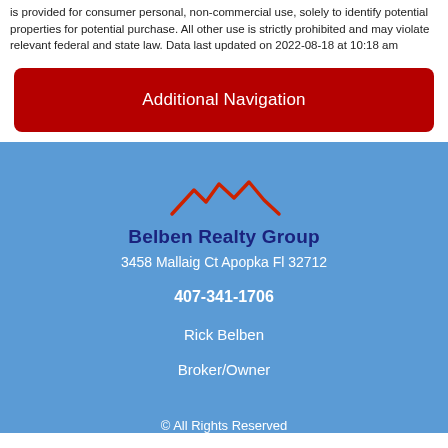is provided for consumer personal, non-commercial use, solely to identify potential properties for potential purchase. All other use is strictly prohibited and may violate relevant federal and state law. Data last updated on 2022-08-18 at 10:18 am
Additional Navigation
[Figure (logo): Belben Realty Group logo with red rooftop line art and dark blue bold company name text]
3458 Mallaig Ct Apopka Fl 32712
407-341-1706
Rick Belben
Broker/Owner
© All Rights Reserved